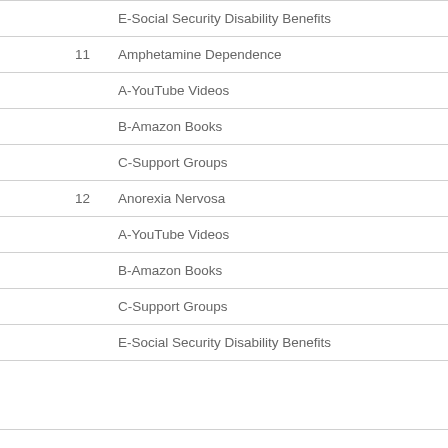| # | Topic |
| --- | --- |
|  | E-Social Security Disability Benefits |
| 11 | Amphetamine Dependence |
|  | A-YouTube Videos |
|  | B-Amazon Books |
|  | C-Support Groups |
| 12 | Anorexia Nervosa |
|  | A-YouTube Videos |
|  | B-Amazon Books |
|  | C-Support Groups |
|  | E-Social Security Disability Benefits |
|  |  |
|  |  |